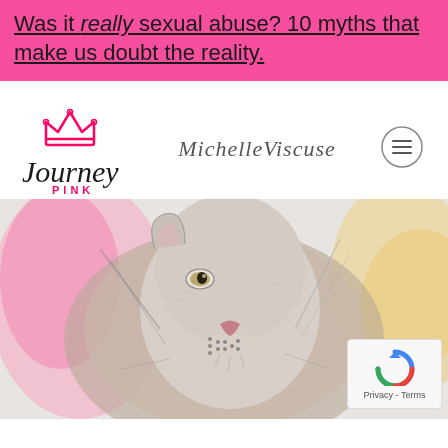Was it really sexual abuse? 10 myths that make us doubt the reality.
[Figure (logo): Journey Pink logo with script text 'Journey' in black, crown icon in pink, and 'PINK' text below]
MichelleViscuse
[Figure (photo): Close-up pencil drawing of a lion's face looking upward, with watercolor pink and yellow accents in the background]